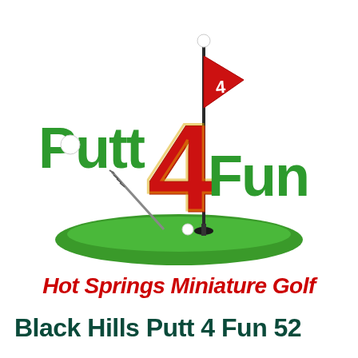[Figure (logo): Putt 4 Fun miniature golf logo: green stylized text 'Putt' and 'Fun' with a large red '4' in the center, a golf flag pole with red triangular flag marked '4', a golf putter club, golf ball, and green grass mound at the bottom.]
Hot Springs Miniature Golf
Black Hills Putt 4 Fun 52